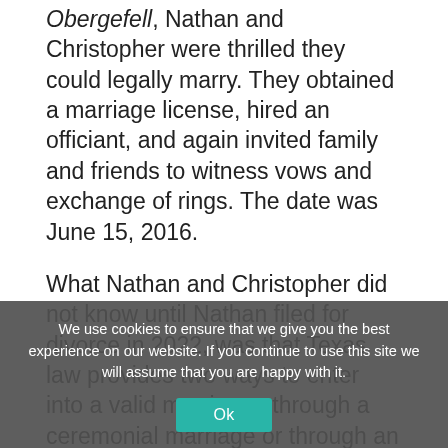Obergefell, Nathan and Christopher were thrilled they could legally marry. They obtained a marriage license, hired an officiant, and again invited family and friends to witness vows and exchange of rings. The date was June 15, 2016.
What Nathan and Christopher did not know until Nathan filed for divorce in 2022, was that Texas law provides two ways to enter into a valid marriage:  through a ceremonial marriage or through an informal marriage. A ceremonial marriage is what Nathan and Christopher did on June 15, 2016.
How is a common-law marriage established in
We use cookies to ensure that we give you the best experience on our website. If you continue to use this site we will assume that you are happy with it.